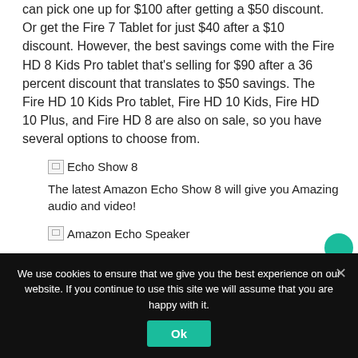can pick one up for $100 after getting a $50 discount. Or get the Fire 7 Tablet for just $40 after a $10 discount. However, the best savings come with the Fire HD 8 Kids Pro tablet that's selling for $90 after a 36 percent discount that translates to $50 savings. The Fire HD 10 Kids Pro tablet, Fire HD 10 Kids, Fire HD 10 Plus, and Fire HD 8 are also on sale, so you have several options to choose from.
[Figure (photo): Broken image placeholder labeled 'Echo Show 8']
The latest Amazon Echo Show 8 will give you Amazing audio and video!
[Figure (photo): Broken image placeholder labeled 'Amazon Echo Speaker']
We use cookies to ensure that we give you the best experience on our website. If you continue to use this site we will assume that you are happy with it.